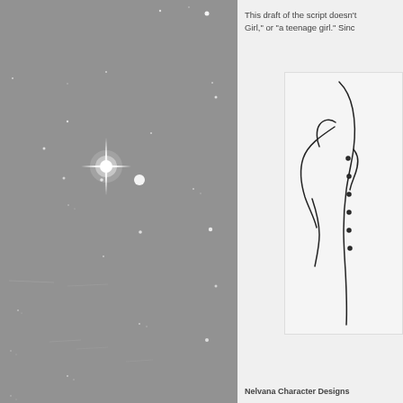[Figure (illustration): Night sky with stars and a bright sparkle/star burst in the center-left area, grey background]
This draft of the script doesn't Girl," or "a teenage girl." Sinc
[Figure (illustration): Character design sketch showing a partial figure, black line drawing on white background]
Nelvana Character Designs